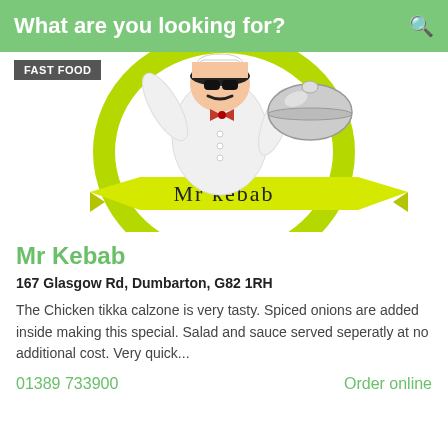What are you looking for?
[Figure (illustration): Cartoon chef with sunglasses holding a silver cloche, wearing white uniform with red bow tie, standing in front of a lime green circular wreath. Below the chef is a banner ribbon reading 'Mr kebab'. A 'FAST FOOD' badge label is in the top-left corner.]
Mr Kebab
167 Glasgow Rd, Dumbarton, G82 1RH
The Chicken tikka calzone is very tasty. Spiced onions are added inside making this special. Salad and sauce served seperatly at no additional cost. Very quick...
01389 733900
Order online